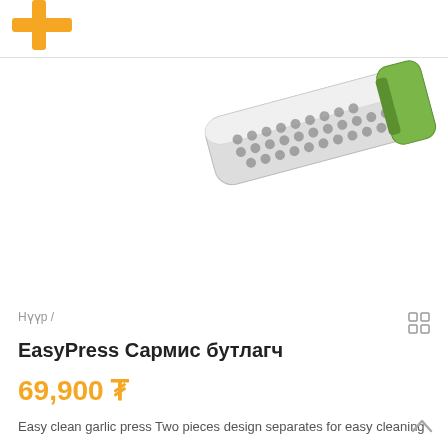[Figure (photo): EasyPress garlic press product photo — a white and green garlic press tool with a perforated hopper, shown at an angle against white background. An orange plus icon is partially visible at the top left.]
Нүүр /
EasyPress Сармис бутлагч
69,900 ₮
Easy clean garlic press Two pieces design separates for easy cleaning